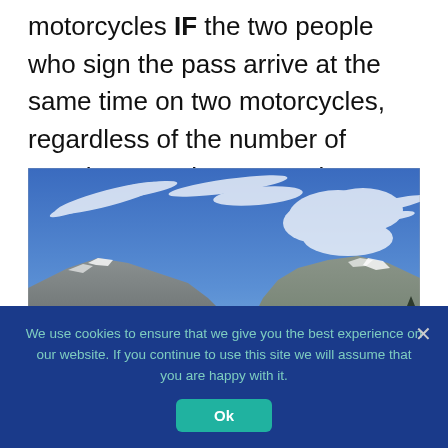motorcycles IF the two people who sign the pass arrive at the same time on two motorcycles, regardless of the number of people on each motorcycle.
[Figure (photo): A mountain landscape photograph showing two mountain peaks with snow patches under a blue sky with wispy white clouds.]
We use cookies to ensure that we give you the best experience on our website. If you continue to use this site we will assume that you are happy with it.